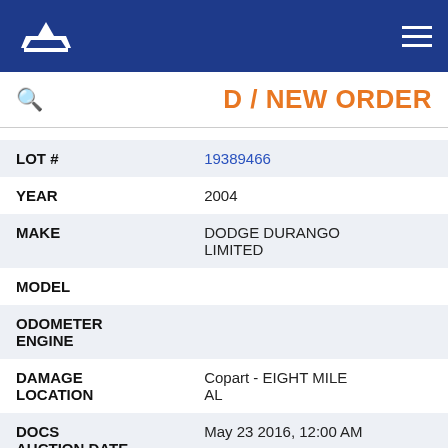Copart logo and navigation header
D / NEW ORDER
| Field | Value |
| --- | --- |
| LOT # | 19389466 |
| YEAR | 2004 |
| MAKE | DODGE DURANGO LIMITED |
| MODEL |  |
| ODOMETER ENGINE |  |
| DAMAGE LOCATION | Copart - EIGHT MILE AL |
| DOCS AUCTION DATE | May 23 2016, 12:00 AM |
| CURRENT BIDS | $1,200 |